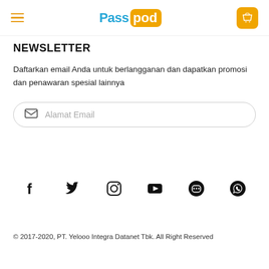Passpod
NEWSLETTER
Daftarkan email Anda untuk berlangganan dan dapatkan promosi dan penawaran spesial lainnya
Alamat Email
[Figure (infographic): Social media icons row: Facebook, Twitter, Instagram, YouTube, LINE, WhatsApp]
© 2017-2020, PT. Yelooo Integra Datanet Tbk. All Right Reserved